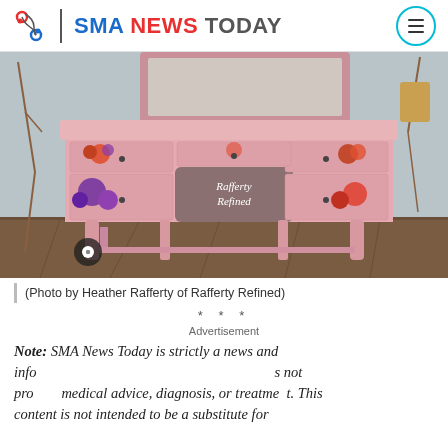SMA NEWS TODAY
[Figure (photo): Pink painted vanity desk with floral decals on drawers, with a mirror behind it, labeled 'Rafferty Refined']
(Photo by Heather Rafferty of Rafferty Refined)
* * *
Advertisement
Note: SMA News Today is strictly a news and information website about the disease. It does not provide medical advice, diagnosis, or treatment. This content is not intended to be a substitute for